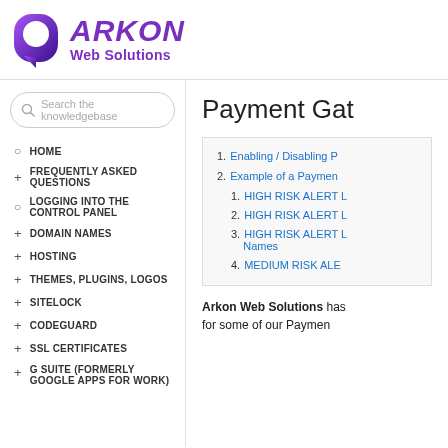ARKON Web Solutions
Search the knowledgebase
HOME
FREQUENTLY ASKED QUESTIONS
LOGGING INTO THE CONTROL PANEL
DOMAIN NAMES
HOSTING
THEMES, PLUGINS, LOGOS
SITELOCK
CODEGUARD
SSL CERTIFICATES
G SUITE (FORMERLY GOOGLE APPS FOR WORK)
Payment Gat
1. Enabling / Disabling P
2. Example of a Paymen
1. HIGH RISK ALERT L
2. HIGH RISK ALERT L
3. HIGH RISK ALERT L Names
4. MEDIUM RISK ALE
Arkon Web Solutions has for some of our Paymen